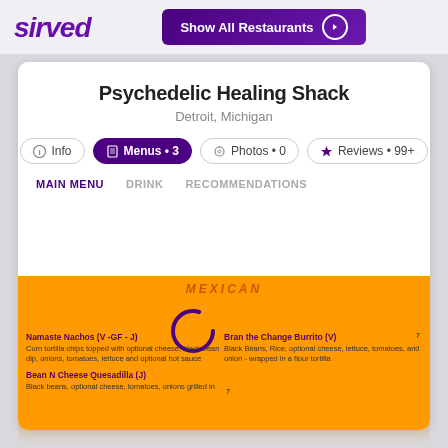[Figure (logo): Sirved logo in purple italic bold text]
[Figure (screenshot): Show All Restaurants button with arrow circle icon on dark purple background]
Psychedelic Healing Shack
Detroit, Michigan
i Info | Menus • 3 | Photos • 0 | Reviews • 99+
MAIN MENU | DRINK | RECOMMENDATIONS
MEXICAN
Namaste Nachos (V -GF - J)
Corn tortilla chips topped with optional cheese, black bean dip, onions, tomatoes, lettuce and optional hot sauce
Bean N Cheese Quesadilla (J)
Black beans, optional cheese, tomatoes, onions grilled in
7
Bran the Change Burrito (V)
Black Beans, Rice, optional cheese, lettuce, tomatoes, and onion - wrapped in a flour tortilla
7